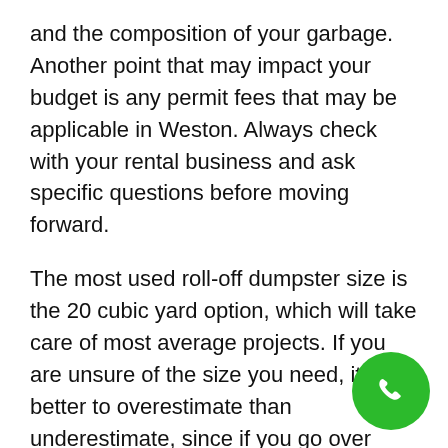and the composition of your garbage. Another point that may impact your budget is any permit fees that may be applicable in Weston. Always check with your rental business and ask specific questions before moving forward.
The most used roll-off dumpster size is the 20 cubic yard option, which will take care of most average projects. If you are unsure of the size you need, it's better to overestimate than underestimate, since if you go over your weight capacity you'll be charged a premium. A 20 cubic yard dumpster will likely cover the majority of cleanup or home improvement jobs in Weston that you're performing. If you're remodeling a home or getting a roof redone, you're probably better off going with a 40 cubic yard dumpster, as it's always more advantageous to have more space than less. It never hurts to have leftover space for garbage in your dumpste
[Figure (other): Green circular phone/call button in the bottom-right corner of the page]